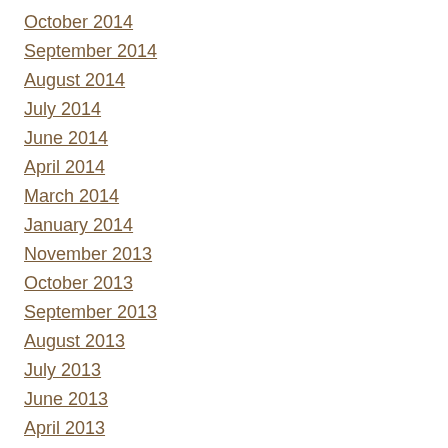October 2014
September 2014
August 2014
July 2014
June 2014
April 2014
March 2014
January 2014
November 2013
October 2013
September 2013
August 2013
July 2013
June 2013
April 2013
February 2013
January 2013
December 2012
November 2012